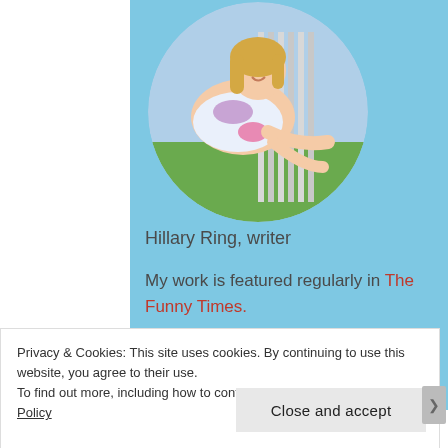[Figure (photo): Circular portrait photo of a blonde woman in a floral dress lying on a bench outdoors]
Hillary Ring, writer
My work is featured regularly in The Funny Times.
[Figure (infographic): Row of four circular social media icons: WordPress (blue), Facebook (blue), Twitter (blue), Instagram (pink/magenta)]
Privacy & Cookies: This site uses cookies. By continuing to use this website, you agree to their use.
To find out more, including how to control cookies, see here: Cookie Policy
Close and accept